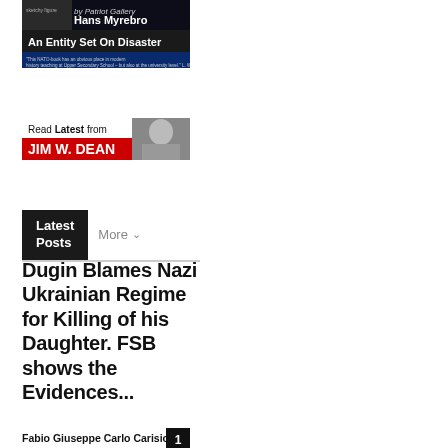[Figure (illustration): Book cover banner for 'An Entity Set On Disaster' by Hans Myrebro. Dark background with title text and a quote about NATO. Small figure/sketch visible at top.]
[Figure (illustration): Banner reading 'Read Latest from JIM W. DEAN' with a black and white photo of a man on the right side and a red bar with white text.]
Latest Posts  More
Dugin Blames Nazi Ukrainian Regime for Killing of his Daughter. FSB shows the Evidences...
Fabio Giuseppe Carlo Carisio - August 22, 2022